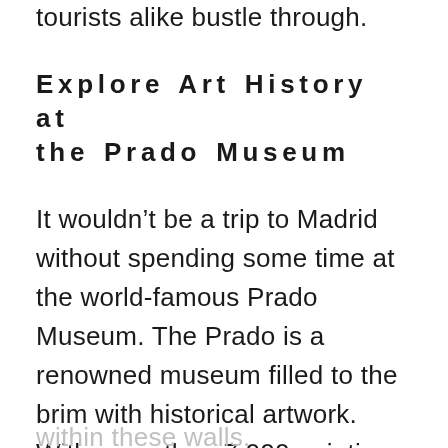tourists alike bustle through.
Explore Art History at the Prado Museum
It wouldn’t be a trip to Madrid without spending some time at the world-famous Prado Museum. The Prado is a renowned museum filled to the brim with historical artwork. With more than 7,000 paintings to see, you should start with the greats — unless you plan on spending your entire Spanish vacation
within these walls.